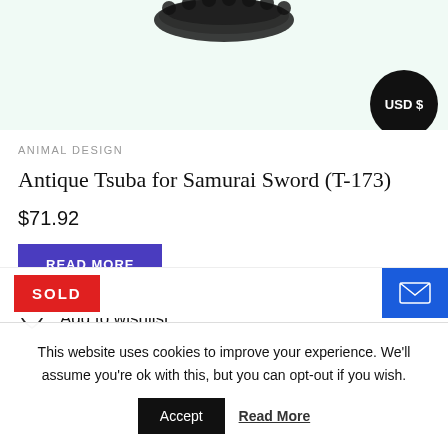[Figure (photo): Partial view of a dark decorative bracelet or tsuba (Japanese sword guard) on a light mint/green background, cropped at top]
ANIMAL DESIGN
Antique Tsuba for Samurai Sword (T-173)
$71.92
READ MORE
Add to wishlist
SOLD
This website uses cookies to improve your experience. We'll assume you're ok with this, but you can opt-out if you wish.
Accept
Read More